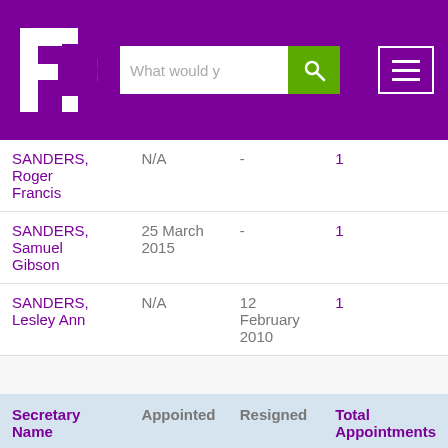[Figure (screenshot): Website header with FD logo, search bar, and menu button on purple background]
|  | Appointed | Resigned | Total Appointments |
| --- | --- | --- | --- |
| SANDERS, Roger Francis | N/A | - | 1 |
| SANDERS, Samuel Gibson | 25 March 2015 | - | 1 |
| SANDERS, Lesley Ann | N/A | 12 February 2010 | 1 |
| Secretary Name | Appointed | Resigned | Total Appointments |
| --- | --- | --- | --- |
| SANDERS, Lesley Anne | 30 May 2017 | - | 1 |